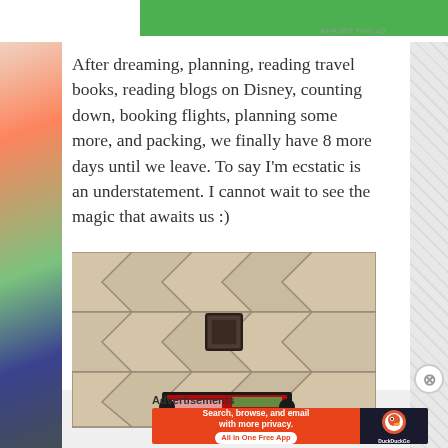After dreaming, planning, reading travel books, reading blogs on Disney, counting down, booking flights, planning some more, and packing, we finally have 8 more days until we leave. To say I'm ecstatic is an understatement. I cannot wait to see the magic that awaits us :)
[Figure (photo): Close-up photo of light-colored stone or marble floor tiles in a diagonal pattern, with a small dark decorative square tile inset in the center. At the bottom of the image, colorful items are partially visible.]
Advertisements
[Figure (screenshot): DuckDuckGo advertisement banner. Left side has orange background with white text: 'Search, browse, and email with more privacy. All in One Free App'. Right side has dark background with DuckDuckGo duck logo and brand name.]